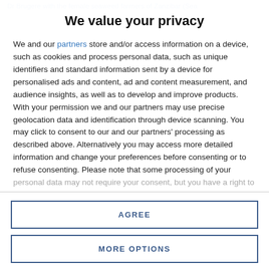Dr Brugere with the female seaweed farmers of Zanzibar (Sea
We value your privacy
We and our partners store and/or access information on a device, such as cookies and process personal data, such as unique identifiers and standard information sent by a device for personalised ads and content, ad and content measurement, and audience insights, as well as to develop and improve products. With your permission we and our partners may use precise geolocation data and identification through device scanning. You may click to consent to our and our partners' processing as described above. Alternatively you may access more detailed information and change your preferences before consenting or to refuse consenting. Please note that some processing of your personal data may not require your consent, but you have a right to
AGREE
MORE OPTIONS
attention to the need for greater equality in status and